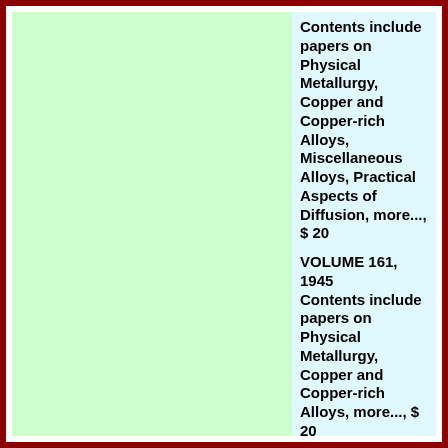Contents include papers on Physical Metallurgy, Copper and Copper-rich Alloys, Miscellaneous Alloys, Practical Aspects of Diffusion, more..., $ 20
VOLUME 161, 1945 Contents include papers on Physical Metallurgy, Copper and Copper-rich Alloys, more..., $ 20
End of AIME Catalog!
Click any link to continue.
Home Page
Catalogs on this Website
Mineral Specimens